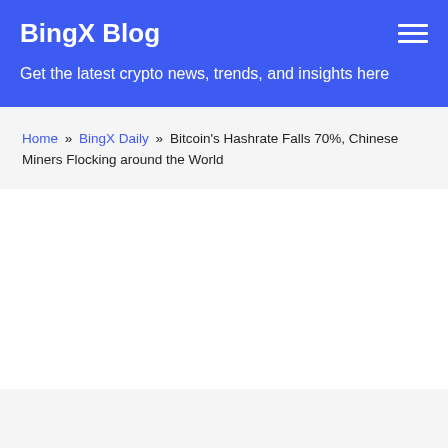BingX Blog
Get the latest crypto news, trends, and insights here
Home » BingX Daily » Bitcoin's Hashrate Falls 70%, Chinese Miners Flocking around the World